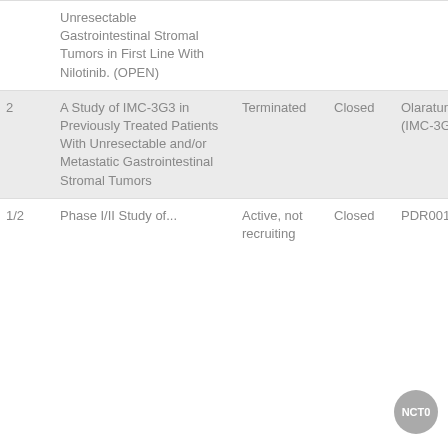| # | Title | Status | Enrollment | Drug | NCT |
| --- | --- | --- | --- | --- | --- |
|  | Unresectable Gastrointestinal Stromal Tumors in First Line With Nilotinib. (OPEN) |  |  |  |  |
| 2 | A Study of IMC-3G3 in Previously Treated Patients With Unresectable and/or Metastatic Gastrointestinal Stromal Tumors | Terminated | Closed | Olaratumab (IMC-3G3) | NCT0... |
| 1/2 | Phase I/II Study of... | Active, not recruiting | Closed | PDR001 | NCT0... |